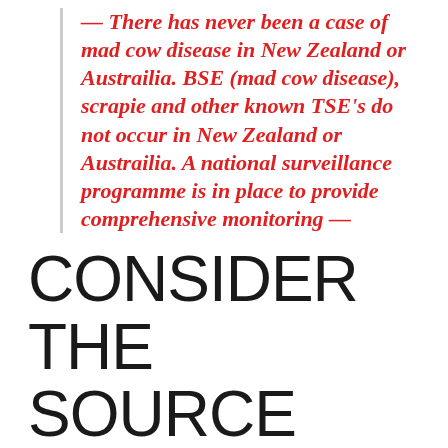— There has never been a case of mad cow disease in New Zealand or Austrailia. BSE (mad cow disease), scrapie and other known TSE's do not occur in New Zealand or Austrailia. A national surveillance programme is in place to provide comprehensive monitoring —
CONSIDER THE SOURCE